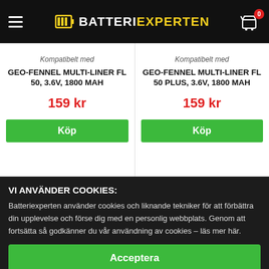BATTERIEXPERTEN
Kompatibelt med
GEO-FENNEL MULTI-LINER FL 50, 3.6V, 1800 MAH
159 kr
Köp
Kompatibelt med
GEO-FENNEL MULTI-LINER FL 50 PLUS, 3.6V, 1800 MAH
159 kr
Köp
VI ANVÄNDER COOKIES:
Batteriexperten använder cookies och liknande tekniker för att förbättra din upplevelse och förse dig med en personlig webbplats. Genom att fortsätta så godkänner du vår användning av cookies – läs mer här.
Acceptera
Endast nödvändiga